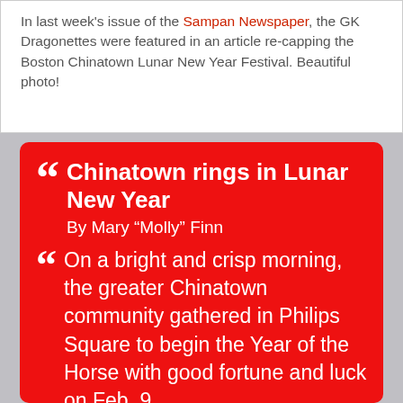In last week's issue of the Sampan Newspaper, the GK Dragonettes were featured in an article re-capping the Boston Chinatown Lunar New Year Festival. Beautiful photo!
Chinatown rings in Lunar New Year
By Mary “Molly” Finn

On a bright and crisp morning, the greater Chinatown community gathered in Philips Square to begin the Year of the Horse with good fortune and luck on Feb. 9.